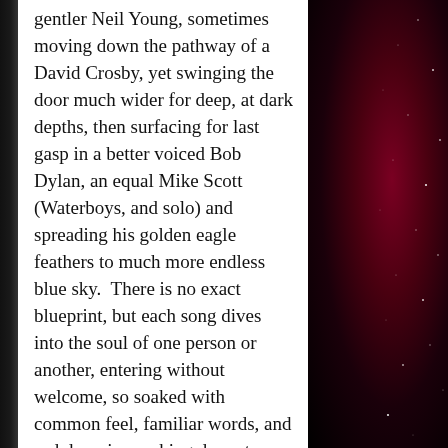gentler Neil Young, sometimes moving down the pathway of a David Crosby, yet swinging the door much wider for deep, at dark depths, then surfacing for last gasp in a better voiced Bob Dylan, an equal Mike Scott (Waterboys, and solo) and spreading his golden eagle feathers to much more endless blue sky.  There is no exact blueprint, but each song dives into the soul of one person or another, entering without welcome, so soaked with common feel, familiar words, and sad despair, reaching down to untie your shoes, make you listen, and keep you close to the moment. Too decent to be a knife in the heart, but too great not to  be as instantly